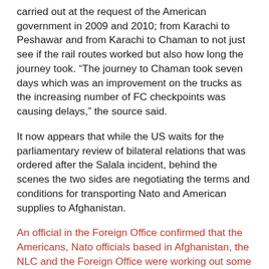carried out at the request of the American government in 2009 and 2010; from Karachi to Peshawar and from Karachi to Chaman to not just see if the rail routes worked but also how long the journey took. “The journey to Chaman took seven days which was an improvement on the trucks as the increasing number of FC checkpoints was causing delays,” the source said.
It now appears that while the US waits for the parliamentary review of bilateral relations that was ordered after the Salala incident, behind the scenes the two sides are negotiating the terms and conditions for transporting Nato and American supplies to Afghanistan.
An official in the Foreign Office confirmed that the Americans, Nato officials based in Afghanistan, the NLC and the Foreign Office were working out some plan to use the railway for supplies to Nato forces in Afghanistan.